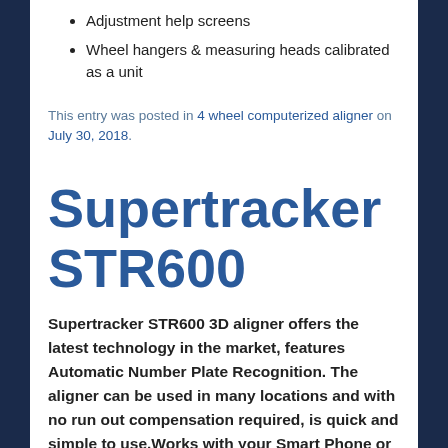Adjustment help screens
Wheel hangers & measuring heads calibrated as a unit
This entry was posted in 4 wheel computerized aligner on July 30, 2018.
Supertracker STR600
Supertracker STR600 3D aligner offers the latest technology in the market, features Automatic Number Plate Recognition. The aligner can be used in many locations and with no run out compensation required, is quick and simple to use.Works with your Smart Phone or Tablet3D. S